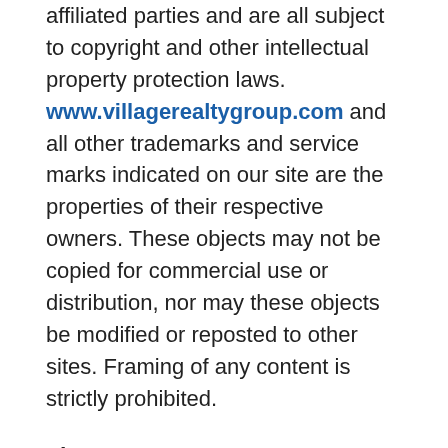affiliated parties and are all subject to copyright and other intellectual property protection laws. www.villagerealtygroup.com and all other trademarks and service marks indicated on our site are the properties of their respective owners. These objects may not be copied for commercial use or distribution, nor may these objects be modified or reposted to other sites. Framing of any content is strictly prohibited.
License
www.villagerealtygroup.com grants you a limited license to access and make personal use of this site and not to download or modify it, or any portion of it, except with the express written consent of www.villagerealtygroup.com. This